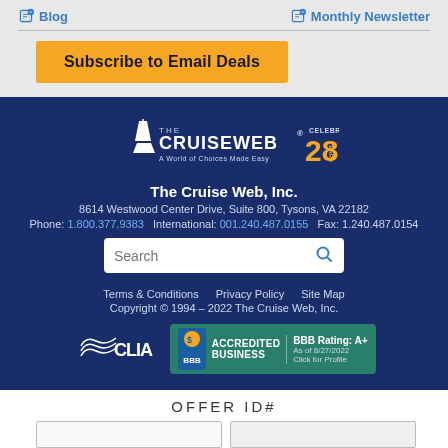Blog | Monthly Newsletter
Subscribe to Email Deals
[Figure (logo): The Cruise Web logo with ship icon and 'Celebrating 28 Years' badge in orange]
The Cruise Web, Inc.
8614 Westwood Center Drive, Suite 800, Tysons, VA 22182
Phone: 1.800.377.9383  International: 001.240.487.0155  Fax: 1.240.487.0154
Search
Terms & Conditions  Privacy Policy  Site Map
Copyright © 1994 – 2022 The Cruise Web, Inc.
[Figure (logo): CLIA logo and BBB Accredited Business A+ rating badge, as of 8/27/2022, Click for Profile]
OFFER ID#